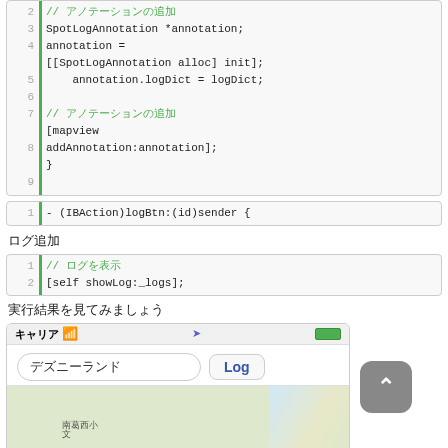[Figure (screenshot): Code block showing lines 2-9 of Objective-C code with SpotLogAnnotation, annotation, mapview addAnnotation]
[Figure (screenshot): Code block showing line 1: - (IBAction)logBtn:(id)sender {]
ログ追加
[Figure (screenshot): Code block showing lines 1-2: // コメント and [self showLog:_logs];]
実行結果を見てみましょう
[Figure (screenshot): iOS app screenshot showing キャリア carrier bar, text field with デズニーランド, Log button, and map view]